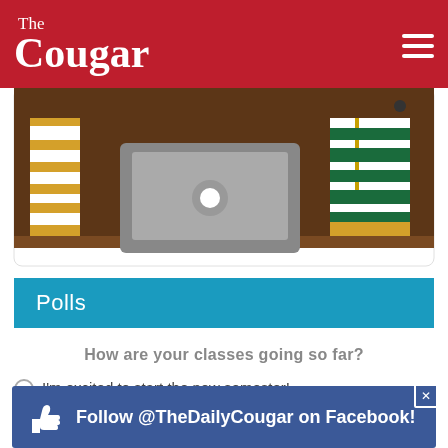The Cougar
[Figure (illustration): Illustration of a laptop on a desk surrounded by stacked books with a brown bookshelf background]
Polls
How are your classes going so far?
I'm excited to start the new semester!
I finally have something to do
What's the point of going to college at this point?
no <3
[Figure (infographic): Follow @TheDailyCougar on Facebook! banner advertisement with thumbs up icon]